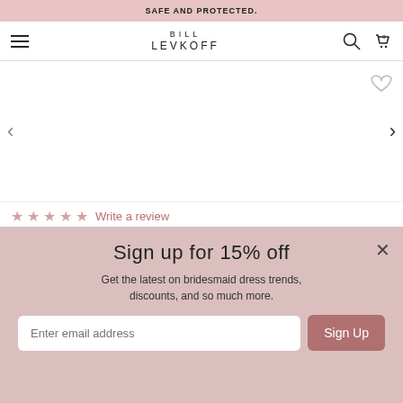SAFE AND PROTECTED.
BILL LEVKOFF
[Figure (screenshot): Product image area with left/right navigation arrows and wishlist heart icon. Product image area is blank/white.]
★ ★ ★ ★ ★ Write a review
NEW! Evergreen Stretch Crepe V-neck Mermaid Dress $124.00
or 4 interest-free installments of $31.00 by afterpay ⓘ
Sign up for 15% off
Get the latest on bridesmaid dress trends, discounts, and so much more.
Enter email address
Sign Up